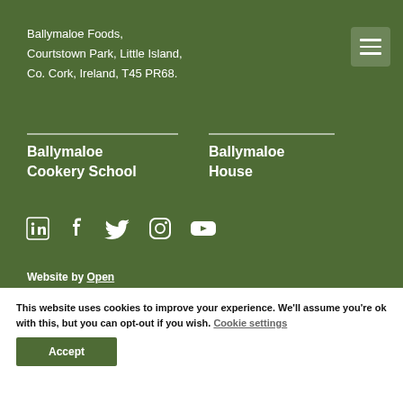Ballymaloe Foods,
Courtstown Park, Little Island,
Co. Cork, Ireland, T45 PR68.
Ballymaloe Cookery School
Ballymaloe House
[Figure (other): Social media icons: LinkedIn, Facebook, Twitter, Instagram, YouTube]
Website by Open
This website uses cookies to improve your experience. We'll assume you're ok with this, but you can opt-out if you wish. Cookie settings
Accept